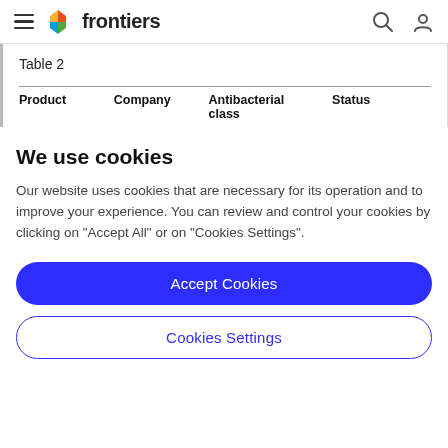frontiers
Table 2
| Product | Company | Antibacterial class | Status |
| --- | --- | --- | --- |
We use cookies
Our website uses cookies that are necessary for its operation and to improve your experience. You can review and control your cookies by clicking on "Accept All" or on "Cookies Settings".
Accept Cookies
Cookies Settings